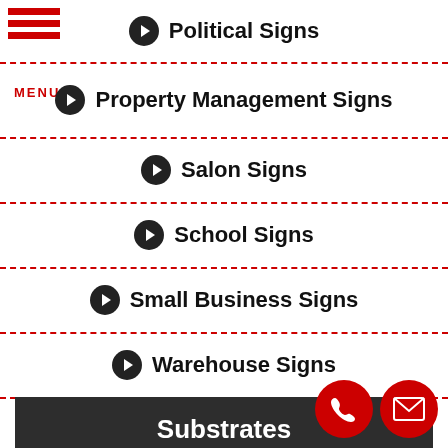Political Signs
Property Management Signs
Salon Signs
School Signs
Small Business Signs
Warehouse Signs
Substrates
Acrylic Signs
Corrugated Signs